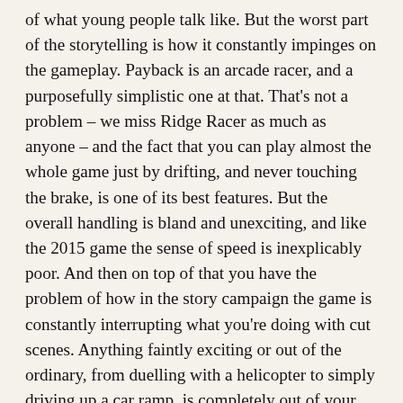of what young people talk like. But the worst part of the storytelling is how it constantly impinges on the gameplay. Payback is an arcade racer, and a purposefully simplistic one at that. That's not a problem – we miss Ridge Racer as much as anyone – and the fact that you can play almost the whole game just by drifting, and never touching the brake, is one of its best features. But the overall handling is bland and unexciting, and like the 2015 game the sense of speed is inexplicably poor. And then on top of that you have the problem of how in the story campaign the game is constantly interrupting what you're doing with cut scenes. Anything faintly exciting or out of the ordinary, from duelling with a helicopter to simply driving up a car ramp, is completely out of your control. What should be the most exciting parts of the game are shown merely as pre-fabricated cut scenes. Although given how ineptly the game tries to replicate Burnout style takedowns, where smashing a car off the road results in a few seconds of slow-motion destruction,